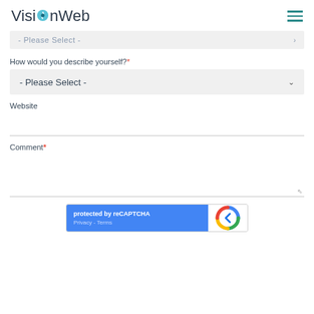VisionWeb
- Please Select -
How would you describe yourself?*
- Please Select -
Website
Comment*
[Figure (other): reCAPTCHA widget showing 'protected by reCAPTCHA' text with Privacy and Terms links, blue background, with reCAPTCHA logo on white background]